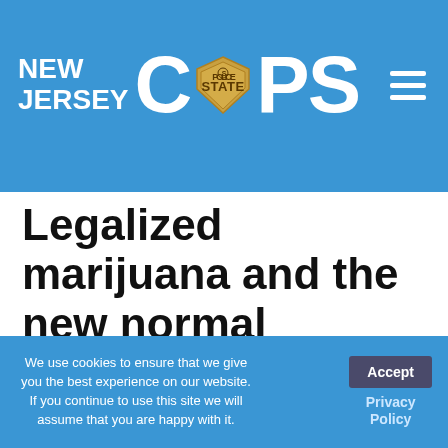New Jersey COPS
Legalized marijuana and the new normal
By Robert A. Fagella | March 31, 2021
By Robert A. Fagella, Esq. and Paul L. Kleinbaum, Esq.
Legalized recreational use of cannabis has arrived in New Jersey. On Feb. 22, Governor Phil Murphy signed the legislation that
We use cookies to ensure that we give you the best experience on our website. If you continue to use this site we will assume that you are happy with it.